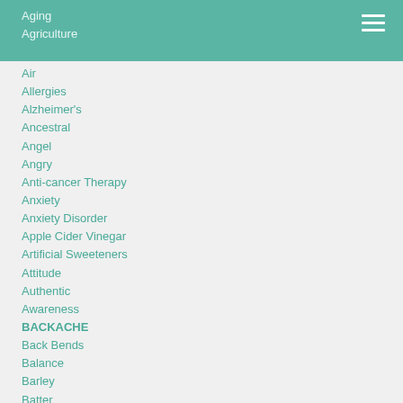Aging
Agriculture
Air
Allergies
Alzheimer's
Ancestral
Angel
Angry
Anti-cancer Therapy
Anxiety
Anxiety Disorder
Apple Cider Vinegar
Artificial Sweeteners
Attitude
Authentic
Awareness
BACKACHE
Back Bends
Balance
Barley
Batter